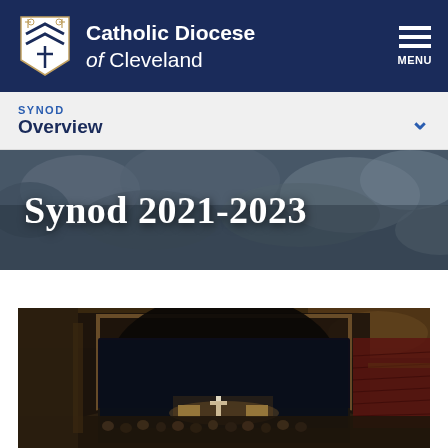Catholic Diocese of Cleveland — MENU
SYNOD
Overview
Synod 2021-2023
[Figure (photo): Interior of a large theater/auditorium with an arched proscenium stage, dark curtain, and rows of red seats. A gathering is taking place on stage with a cross and banners visible, and the audience fills the lower section.]